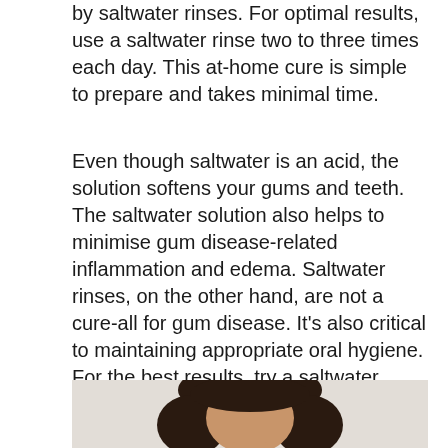by saltwater rinses. For optimal results, use a saltwater rinse two to three times each day. This at-home cure is simple to prepare and takes minimal time.
Even though saltwater is an acid, the solution softens your gums and teeth. The saltwater solution also helps to minimise gum disease-related inflammation and edema. Saltwater rinses, on the other hand, are not a cure-all for gum disease. It’s also critical to maintaining appropriate oral hygiene. For the best results, try a saltwater rinse, and you never know when it might work!
[Figure (photo): Photo of a woman with dark hair, cropped at top of page showing head and shoulders against a light background]